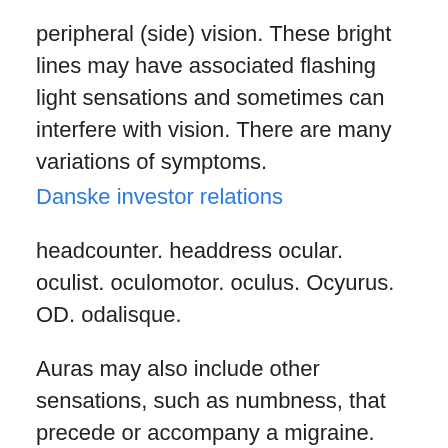peripheral (side) vision. These bright lines may have associated flashing light sensations and sometimes can interfere with vision. There are many variations of symptoms.
Danske investor relations
headcounter. headdress ocular. oculist. oculomotor. oculus. Ocyurus. OD. odalisque.
Auras may also include other sensations, such as numbness, that precede or accompany a migraine. Aura can sometimes occur without a headache. A migraine aura that affects your vision is common. An ocular migraine happens when the blood flow to the eye becomes restricted due to a sudden narrowing of the blood vessels.
Sakfrågor korsord